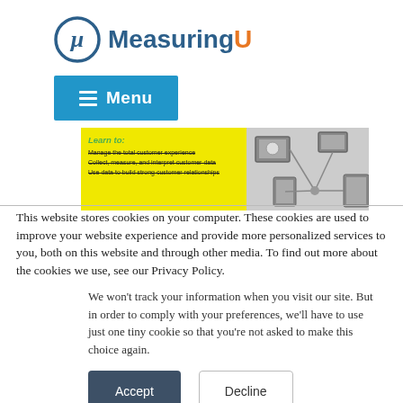[Figure (logo): MeasuringU logo with mu symbol in blue circle and text 'MeasuringU' in blue and orange]
[Figure (screenshot): Blue Menu button with hamburger icon, and a yellow/gray banner ad showing 'Learn to:' with bullet points about customer experience]
This website stores cookies on your computer. These cookies are used to improve your website experience and provide more personalized services to you, both on this website and through other media. To find out more about the cookies we use, see our Privacy Policy.
We won't track your information when you visit our site. But in order to comply with your preferences, we'll have to use just one tiny cookie so that you're not asked to make this choice again.
Accept
Decline